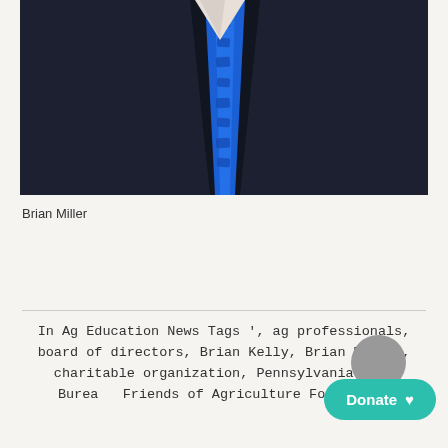[Figure (photo): Close-up photo of a person wearing a dark navy suit with a bright blue patterned tie]
Brian Miller
In Ag Education News Tags ', ag professionals, board of directors, Brian Kelly, Brian Miller, charitable organization, Pennsylvania Farm Bureau, Friends of Agriculture Found…